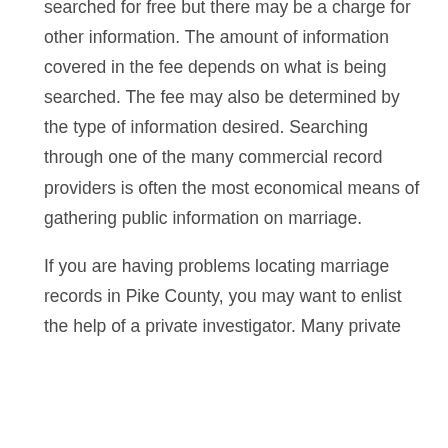searched for free but there may be a charge for other information. The amount of information covered in the fee depends on what is being searched. The fee may also be determined by the type of information desired. Searching through one of the many commercial record providers is often the most economical means of gathering public information on marriage.
If you are having problems locating marriage records in Pike County, you may want to enlist the help of a private investigator. Many private